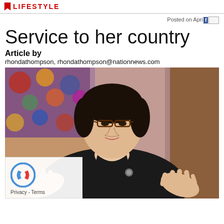LIFESTYLE
Posted on April [date]
Service to her country
Article by
rhondathompson, rhondathompson@nationnews.com
[Figure (photo): A woman of Asian appearance wearing glasses and a black jacket with a brooch, gesturing with both hands raised, seated in front of a decorative background]
Privacy - Terms